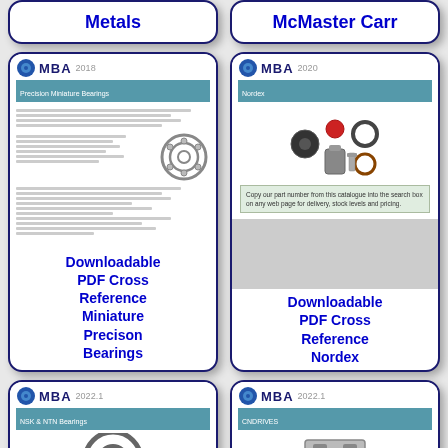[Figure (other): Top-left card (cropped) with label: Metals]
Metals
[Figure (other): Top-right card (cropped) with label: McMaster Carr]
McMaster Carr
[Figure (other): Middle-left card showing MBA 2018 Precision Miniature Bearings catalog cover with bearing image and text, labeled: Downloadable PDF Cross Reference Miniature Precison Bearings]
Downloadable PDF Cross Reference Miniature Precison Bearings
[Figure (other): Middle-right card showing MBA 2020 Nordex catalog cover with hardware image and grey band, labeled: Downloadable PDF Cross Reference Nordex]
Downloadable PDF Cross Reference Nordex
[Figure (other): Bottom-left card (cropped) showing MBA 2022.1 NSK & NTN Bearings catalog]
[Figure (other): Bottom-right card (cropped) showing MBA 2022.1 CNDRIVES catalog]